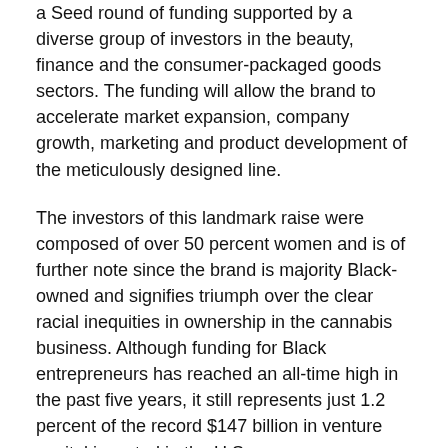a Seed round of funding supported by a diverse group of investors in the beauty, finance and the consumer-packaged goods sectors. The funding will allow the brand to accelerate market expansion, company growth, marketing and product development of the meticulously designed line.
The investors of this landmark raise were composed of over 50 percent women and is of further note since the brand is majority Black-owned and signifies triumph over the clear racial inequities in ownership in the cannabis business. Although funding for Black entrepreneurs has reached an all-time high in the past five years, it still represents just 1.2 percent of the record $147 billion in venture capital invested in the U.S.
“Lure is led by extremely talented founders with an aligned vision to move past the notion of singular need states for CBD. They are answering the call for CBD to be integrated into an overall daily beauty routine and to help shape the conversation around the expanded benefits for women’s health. It is really an honor to be invested in this rising brand,” says investor and Reel Founder, Derin Oyekan.
Sitting at the nexus of wellness and beauty, the brand touts hard working modern essentials intended to be integrated into a daily routine. In creating Lure, founders Kara Kelly, Monica